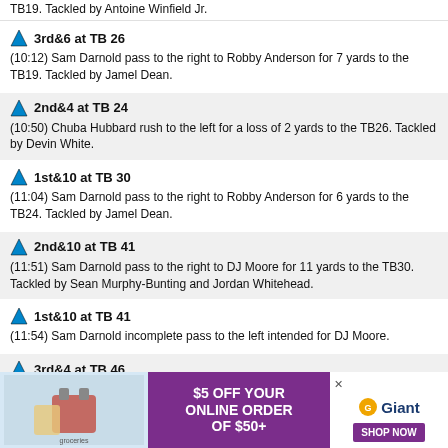TB19. Tackled by Antoine Winfield Jr.
3rd&6 at TB 26
(10:12) Sam Darnold pass to the right to Robby Anderson for 7 yards to the TB19. Tackled by Jamel Dean.
2nd&4 at TB 24
(10:50) Chuba Hubbard rush to the left for a loss of 2 yards to the TB26. Tackled by Devin White.
1st&10 at TB 30
(11:04) Sam Darnold pass to the right to Robby Anderson for 6 yards to the TB24. Tackled by Jamel Dean.
2nd&10 at TB 41
(11:51) Sam Darnold pass to the right to DJ Moore for 11 yards to the TB30. Tackled by Sean Murphy-Bunting and Jordan Whitehead.
1st&10 at TB 41
(11:54) Sam Darnold incomplete pass to the left intended for DJ Moore.
3rd&4 at TB 46
(12:17) Penalty: Offside on Tampa Bay (Vita Vea) 5 yards.
[Figure (other): Giant grocery store advertisement: $5 OFF YOUR ONLINE ORDER OF $50+, SHOP NOW button]